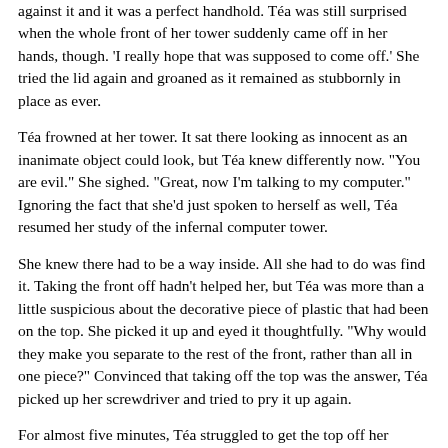against it and it was a perfect handhold. Téa was still surprised when the whole front of her tower suddenly came off in her hands, though. 'I really hope that was supposed to come off.' She tried the lid again and groaned as it remained as stubbornly in place as ever.
Téa frowned at her tower. It sat there looking as innocent as an inanimate object could look, but Téa knew differently now. "You are evil." She sighed. "Great, now I'm talking to my computer." Ignoring the fact that she'd just spoken to herself as well, Téa resumed her study of the infernal computer tower.
She knew there had to be a way inside. All she had to do was find it. Taking the front off hadn't helped her, but Téa was more than a little suspicious about the decorative piece of plastic that had been on the top. She picked it up and eyed it thoughtfully. "Why would they make you separate to the rest of the front, rather than all in one piece?" Convinced that taking off the top was the answer, Téa picked up her screwdriver and tried to pry it up again.
For almost five minutes, Téa struggled to get the top off her computer tower. But no matter how much she tried to lever it up, it simply would not obey her. Down to her last resort, she moved her screwdriver, slipping it between the back of her tower and the edge of the lid that was flush against it. She tried to pry it up from there, but the edge was too thin and she couldn't get enough pressure on it. She angled her screwdriver down a little and tried again.